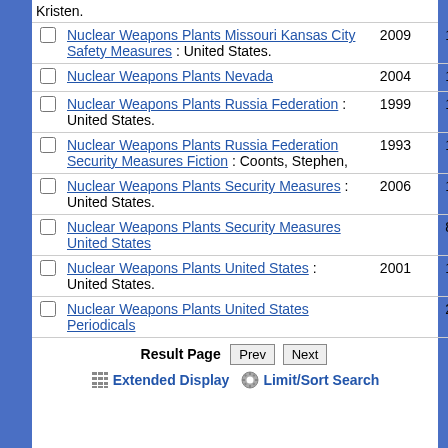Kristen.
Nuclear Weapons Plants Missouri Kansas City Safety Measures : United States. 2009 1
Nuclear Weapons Plants Nevada 2004 1
Nuclear Weapons Plants Russia Federation : United States. 1999 1
Nuclear Weapons Plants Russia Federation Security Measures Fiction : Coonts, Stephen, 1993 1
Nuclear Weapons Plants Security Measures : United States. 2006 1
Nuclear Weapons Plants Security Measures United States 8
Nuclear Weapons Plants United States : United States. 2001 1
Nuclear Weapons Plants United States Periodicals 2
Result Page Prev Next
Extended Display Limit/Sort Search